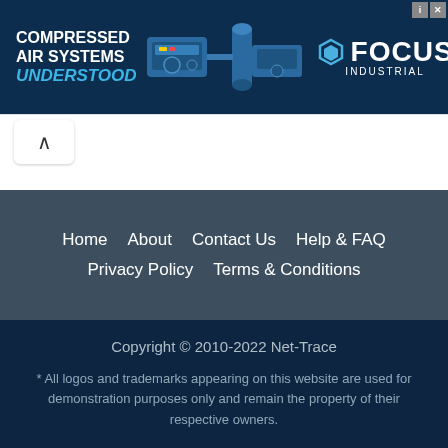[Figure (illustration): Advertisement banner for Focus Industrial showing compressed air systems machinery with text: COMPRESSED AIR SYSTEMS UNDERSTOOD and Focus Industrial logo with hexagon icon]
Home  About  Contact Us  Help & FAQ  Privacy Policy  Terms & Conditions
Copyright © 2010-2022 Net-Trace
* All logos and trademarks appearing on this website are used for demonstration purposes only and remain the property of their respective owners.